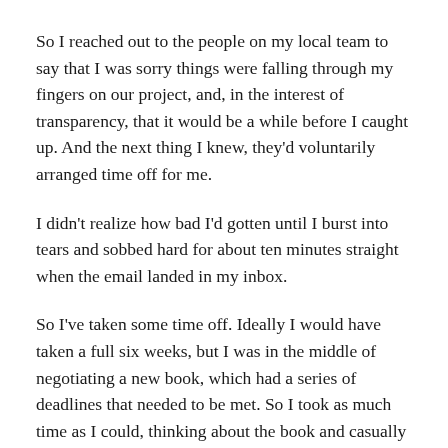So I reached out to the people on my local team to say that I was sorry things were falling through my fingers on our project, and, in the interest of transparency, that it would be a while before I caught up. And the next thing I knew, they'd voluntarily arranged time off for me.
I didn't realize how bad I'd gotten until I burst into tears and sobbed hard for about ten minutes straight when the email landed in my inbox.
So I've taken some time off. Ideally I would have taken a full six weeks, but I was in the middle of negotiating a new book, which had a series of deadlines that needed to be met. So I took as much time as I could, thinking about the book and casually reading stuff now and then to get my brain juice flowing behind the scenes, and have started the actual writing this week. The deadlines are still close, but I'm not as stressed as I was a month ago, so it's easier to handle them. And I have a full month to focus on just that, before I pick…